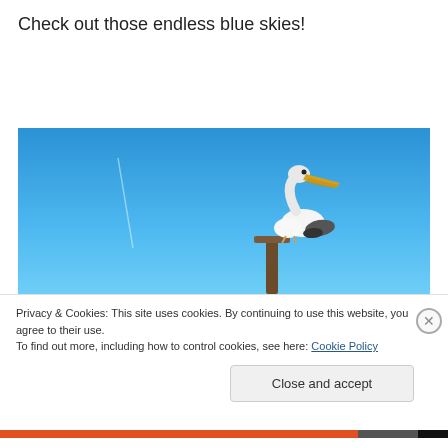Check out those endless blue skies!
[Figure (photo): A pelican perched on a wooden post against a clear blue sky, photo taken from below. A faint contrail is visible in the upper left portion of the sky.]
Privacy & Cookies: This site uses cookies. By continuing to use this website, you agree to their use.
To find out more, including how to control cookies, see here: Cookie Policy
Close and accept